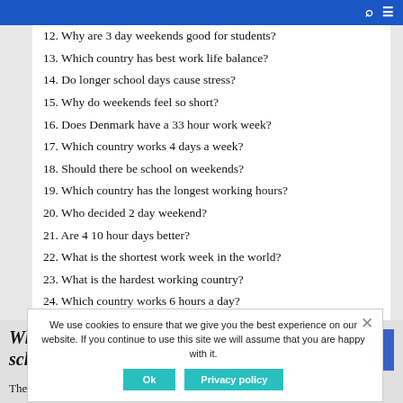12. Why are 3 day weekends good for students?
13. Which country has best work life balance?
14. Do longer school days cause stress?
15. Why do weekends feel so short?
16. Does Denmark have a 33 hour work week?
17. Which country works 4 days a week?
18. Should there be school on weekends?
19. Which country has the longest working hours?
20. Who decided 2 day weekend?
21. Are 4 10 hour days better?
22. What is the shortest work week in the world?
23. What is the hardest working country?
24. Which country works 6 hours a day?
25. Why is a 4-day school week bad?
What are the pros and cons of long school days?
The Pros of a Longer School Day
We use cookies to ensure that we give you the best experience on our website. If you continue to use this site we will assume that you are happy with it.